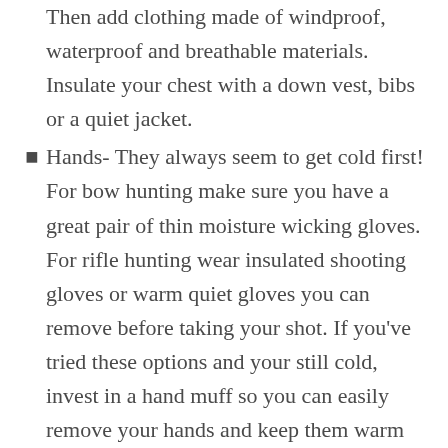Then add clothing made of windproof, waterproof and breathable materials. Insulate your chest with a down vest, bibs or a quiet jacket.
Hands- They always seem to get cold first! For bow hunting make sure you have a great pair of thin moisture wicking gloves. For rifle hunting wear insulated shooting gloves or warm quiet gloves you can remove before taking your shot. If you've tried these options and your still cold, invest in a hand muff so you can easily remove your hands and keep them warm before your shot.
Feet- Wear two pairs of socks. The first pair should be made of moisture wicking material and the second pair should be a thick wool sock. Slip on